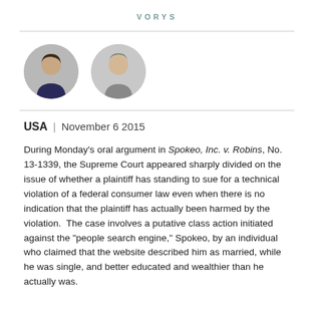VORYS
[Figure (photo): Two circular portrait photos of attorneys side by side]
USA | November 6 2015
During Monday's oral argument in Spokeo, Inc. v. Robins, No. 13-1339, the Supreme Court appeared sharply divided on the issue of whether a plaintiff has standing to sue for a technical violation of a federal consumer law even when there is no indication that the plaintiff has actually been harmed by the violation.  The case involves a putative class action initiated against the "people search engine," Spokeo, by an individual who claimed that the website described him as married, while he was single, and better educated and wealthier than he actually was.